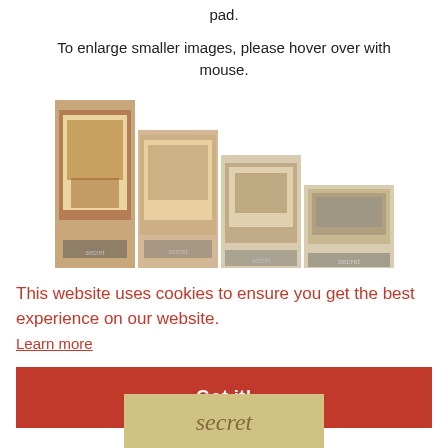pad.
To enlarge smaller images, please hover over with mouse.
[Figure (photo): Four small product/book images shown in a row at varying heights]
[Figure (photo): A wide rectangular product image showing a rubber stamp pad or similar item]
This website uses cookies to ensure you get the best experience on our website.
Learn more
Got it!
[Figure (photo): Bottom product image partially visible showing handwritten text 'secret']